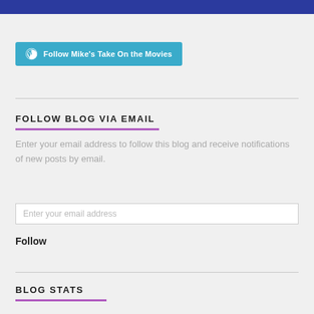[Figure (other): Follow Mike's Take On the Movies WordPress follow button in teal/cyan color]
FOLLOW BLOG VIA EMAIL
Enter your email address to follow this blog and receive notifications of new posts by email.
Enter your email address
Follow
BLOG STATS